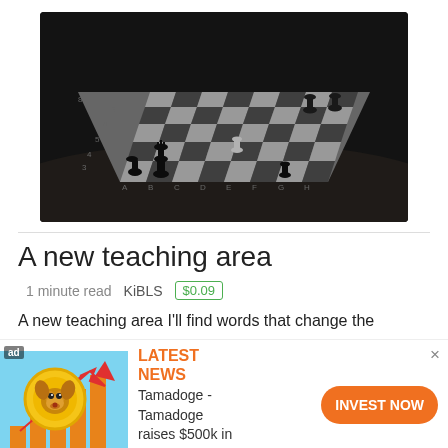[Figure (photo): A chess board with pieces on it, photographed from an angle in dark/dim lighting. Black and white chess pieces are arranged mid-game on the board.]
A new teaching area
1 minute read   KiBLS   $0.09
A new teaching area I'll find words that change the
[Figure (infographic): Advertisement banner: Tamadoge cryptocurrency ad. Shows a dog coin logo with an upward arrow and bar chart. Text: LATEST NEWS Tamadoge - Tamadoge raises $500k in last 24 hours. Button: INVEST NOW]